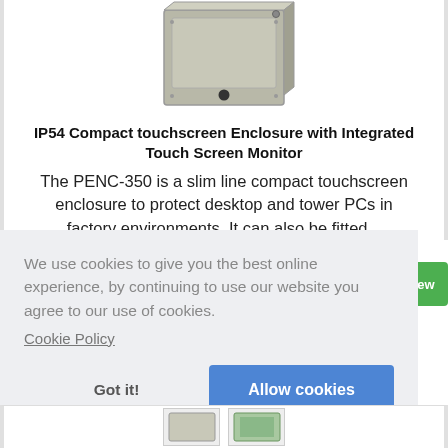[Figure (photo): Photo of IP54 compact touchscreen enclosure, a grey metal box with a circular vent hole at the bottom front and a latch on top.]
IP54 Compact touchscreen Enclosure with Integrated Touch Screen Monitor
The PENC-350 is a slim line compact touchscreen enclosure to protect desktop and tower PCs in factory environments. It can also be fitted...
We use cookies to give you the best online experience, by continuing to use our website you agree to our use of cookies.
Cookie Policy
Got it!
Allow cookies